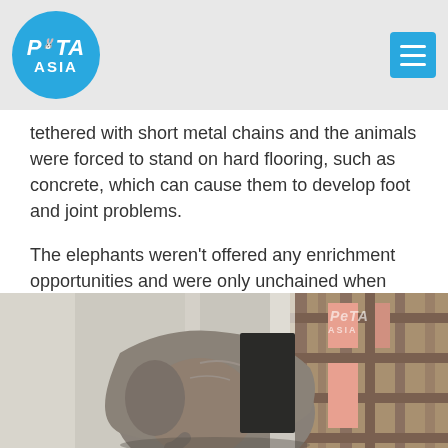PETA ASIA
tethered with short metal chains and the animals were forced to stand on hard flooring, such as concrete, which can cause them to develop foot and joint problems.
The elephants weren't offered any enrichment opportunities and were only unchained when being forced to perform tricks or give rides to tourists. They constantly swayed from side to side, which is a sign of mental distress.
[Figure (photo): An elephant seen from behind, standing in a confined concrete enclosure next to a wooden structure with a PETA Asia watermark visible.]